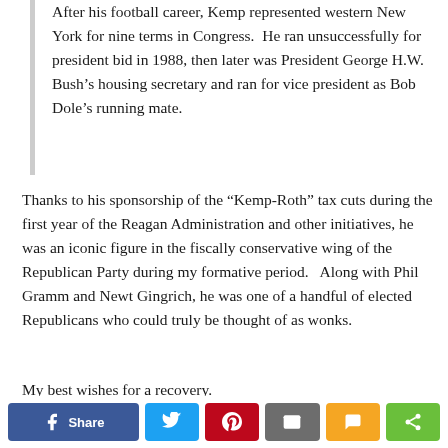After his football career, Kemp represented western New York for nine terms in Congress.  He ran unsuccessfully for president bid in 1988, then later was President George H.W. Bush’s housing secretary and ran for vice president as Bob Dole’s running mate.
Thanks to his sponsorship of the “Kemp-Roth” tax cuts during the first year of the Reagan Administration and other initiatives, he was an iconic figure in the fiscally conservative wing of the Republican Party during my formative period.   Along with Phil Gramm and Newt Gingrich, he was one of a handful of elected Republicans who could truly be thought of as wonks.
My best wishes for a recovery.
[Figure (infographic): Social sharing buttons: Facebook Share, Twitter, Pinterest, Email, SMS, and a generic share button]